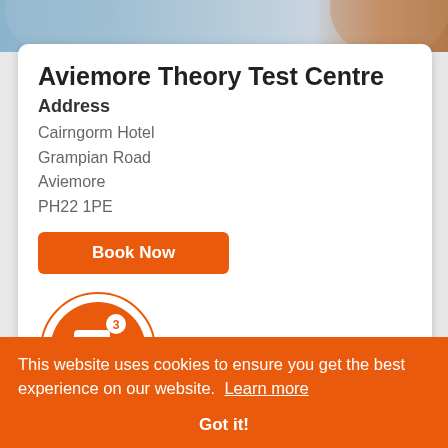[Figure (photo): Top banner photo: cropped image of a person, blue and warm tones]
Aviemore Theory Test Centre
Address
Cairngorm Hotel
Grampian Road
Aviemore
PH22 1PF
Book Now
[Figure (illustration): Orange circular badge with car icon and number 3, labelled 'Take advantage']
of our 3 free retests if you re
This website uses cookies to ensure you get the best experience on our website.  Learn more
Got it!
Aviemore Theory Test Centre is located in the heart of Scotland and is one of the largest theory test centres in the UK. The centre is situated close to many popular tourist